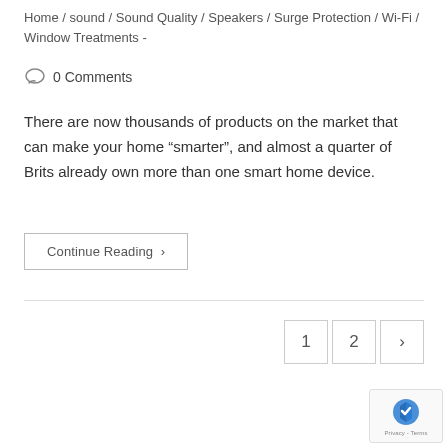Home / sound / Sound Quality / Speakers / Surge Protection / Wi-Fi / Window Treatments -
0 Comments
There are now thousands of products on the market that can make your home “smarter”, and almost a quarter of Brits already own more than one smart home device.
Continue Reading ›
1  2  ›